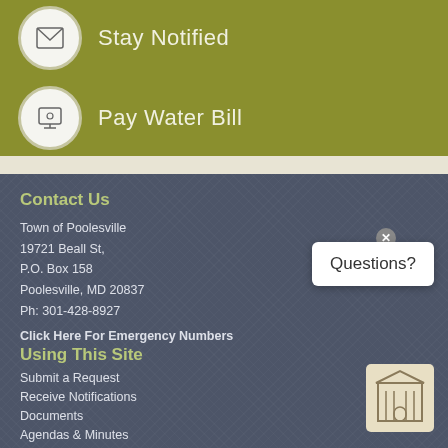Stay Notified
Pay Water Bill
Contact Us
Town of Poolesville
19721 Beall St,
P.O. Box 158
Poolesville, MD 20837
Ph: 301-428-8927
Click Here For Emergency Numbers
Using This Site
Submit a Request
Receive Notifications
Documents
Agendas & Minutes
Questions?